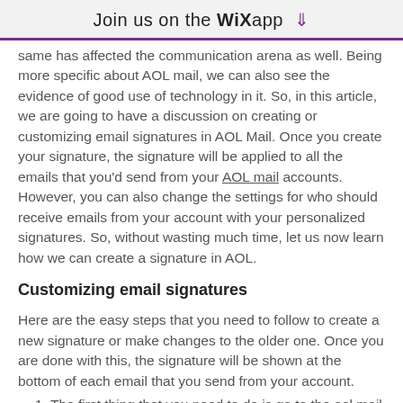Join us on the WiX app ↓
same has affected the communication arena as well. Being more specific about AOL mail, we can also see the evidence of good use of technology in it. So, in this article, we are going to have a discussion on creating or customizing email signatures in AOL Mail. Once you create your signature, the signature will be applied to all the emails that you'd send from your AOL mail accounts. However, you can also change the settings for who should receive emails from your account with your personalized signatures. So, without wasting much time, let us now learn how we can create a signature in AOL.
Customizing email signatures
Here are the easy steps that you need to follow to create a new signature or make changes to the older one. Once you are done with this, the signature will be shown at the bottom of each email that you send from your account.
The first thing that you need to do is go to the aol.mail login page
From here, you need to sign in to your